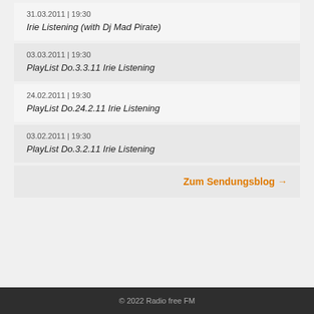31.03.2011 | 19:30
Irie Listening (with Dj Mad Pirate)
03.03.2011 | 19:30
PlayList Do.3.3.11 Irie Listening
24.02.2011 | 19:30
PlayList Do.24.2.11 Irie Listening
03.02.2011 | 19:30
PlayList Do.3.2.11 Irie Listening
Zum Sendungsblog →
© 2022 Radio free FM